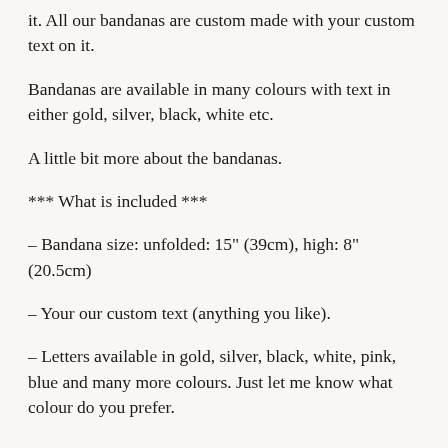it. All our bandanas are custom made with your custom text on it.
Bandanas are available in many colours with text in either gold, silver, black, white etc.
A little bit more about the bandanas.
*** What is included ***
– Bandana size: unfolded: 15" (39cm), high: 8" (20.5cm)
– Your our custom text (anything you like).
– Letters available in gold, silver, black, white, pink, blue and many more colours. Just let me know what colour do you prefer.